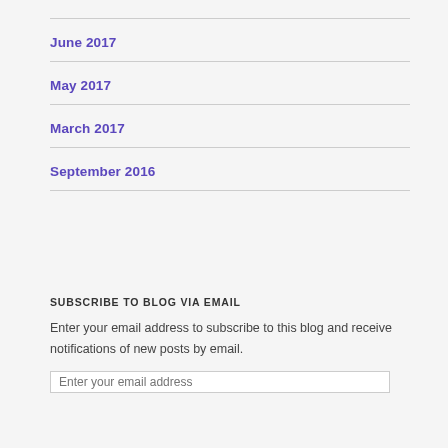June 2017
May 2017
March 2017
September 2016
SUBSCRIBE TO BLOG VIA EMAIL
Enter your email address to subscribe to this blog and receive notifications of new posts by email.
Enter your email address